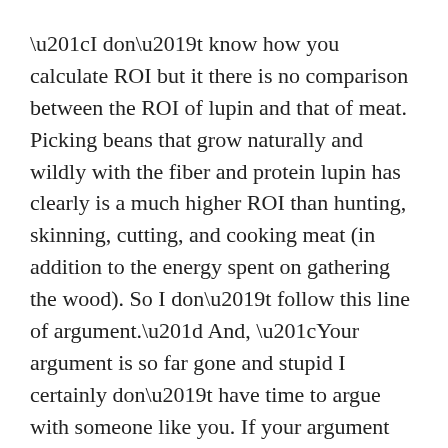“I don’t know how you calculate ROI but it there is no comparison between the ROI of lupin and that of meat. Picking beans that grow naturally and wildly with the fiber and protein lupin has clearly is a much higher ROI than hunting, skinning, cutting, and cooking meat (in addition to the energy spent on gathering the wood). So I don’t follow this line of argument.” And, “Your argument is so far gone and stupid I certainly don’t have time to argue with someone like you. If your argument was logical maybe I would make time. So you can think what you want but its really that simple. Enjoy wasting business people’s time with your bullshit.”
Although this individual finds my argument to